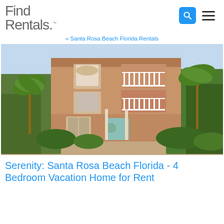Find Rentals.
« Santa Rosa Beach Florida Rentals
[Figure (photo): Three-story peach/salmon colored vacation home with white balcony railings, arched windows, blue front door with wreath, surrounded by palm trees and tropical vegetation under a blue sky.]
Serenity: Santa Rosa Beach Florida - 4 Bedroom Vacation Home for Rent